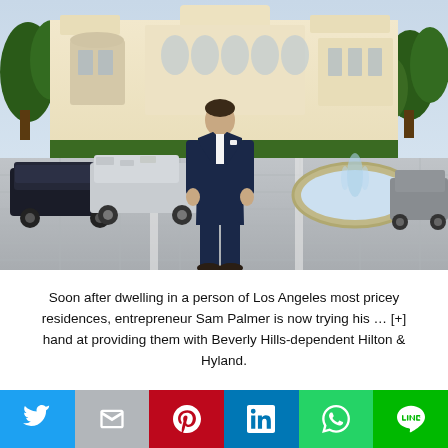[Figure (photo): Man in a navy blue suit standing in front of a large luxury mansion with a fountain, luxury SUVs parked to the left, and lush trees in the background. The driveway has patterned pavement.]
Soon after dwelling in a person of Los Angeles most pricey residences, entrepreneur Sam Palmer is now trying his … [+] hand at providing them with Beverly Hills-dependent Hilton & Hyland.